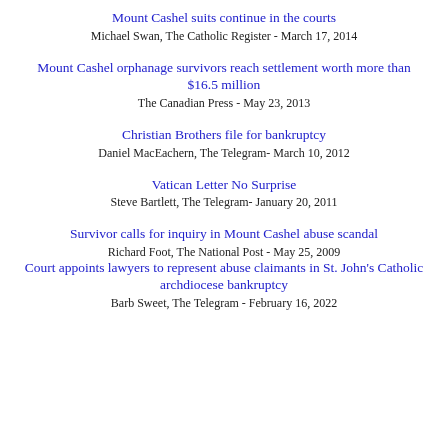Mount Cashel suits continue in the courts
Michael Swan, The Catholic Register - March 17, 2014
Mount Cashel orphanage survivors reach settlement worth more than $16.5 million
The Canadian Press - May 23, 2013
Christian Brothers file for bankruptcy
Daniel MacEachern, The Telegram- March 10, 2012
Vatican Letter No Surprise
Steve Bartlett, The Telegram- January 20, 2011
Survivor calls for inquiry in Mount Cashel abuse scandal
Richard Foot, The National Post - May 25, 2009
Court appoints lawyers to represent abuse claimants in St. John's Catholic archdiocese bankruptcy
Barb Sweet, The Telegram - February 16, 2022